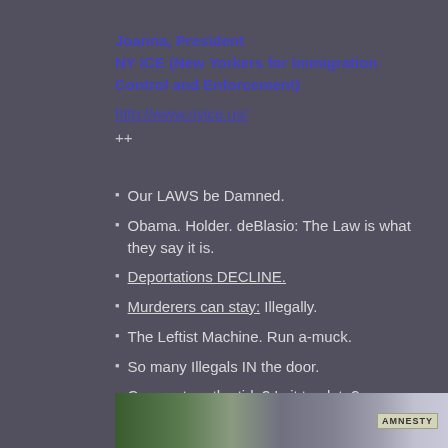Joanna, President
NY ICE (New Yorkers for Immigration Control and Enforcement)
http://www.nyice.us/
++
Our LAWS be Damned.
Obama. Holder. deBlasio: The Law is what they say it is.
Deportations DECLINE.
Murderers can stay: Illegally.
The Leftist Machine. Run a-muck.
So many Illegals IN the door.
Can we turn the tide? Is it too late?
[Figure (photo): Partial photo of urban buildings with an Amnesty sign visible at the bottom of the page]